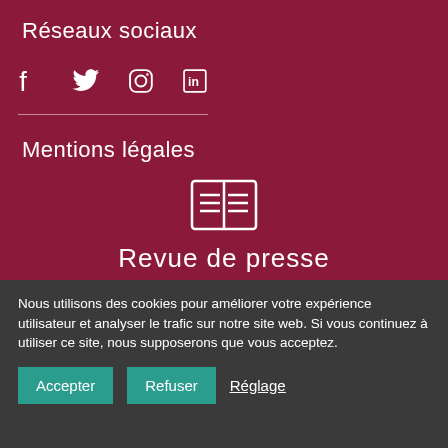Réseaux sociaux
[Figure (infographic): Social media icons: Facebook, Twitter, Instagram, LinkedIn displayed in white on dark red background]
Mentions légales
[Figure (infographic): Newspaper/document icon in white on dark red background]
Revue de presse
Nous utilisons des cookies pour améliorer votre expérience utilisateur et analyser le trafic sur notre site web. Si vous continuez à utiliser ce site, nous supposerons que vous acceptez.
Accepter
Refuser
Réglage